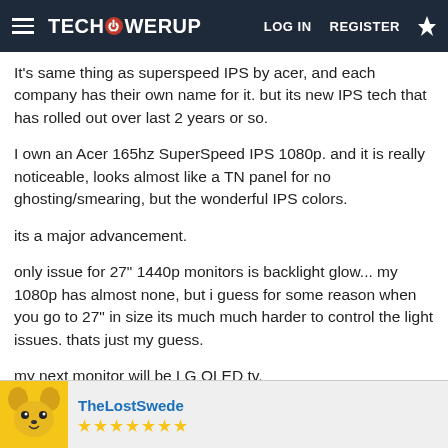TECHPOWERUP — LOG IN  REGISTER
It's same thing as superspeed IPS by acer, and each company has their own name for it. but its new IPS tech that has rolled out over last 2 years or so.
I own an Acer 165hz SuperSpeed IPS 1080p. and it is really noticeable, looks almost like a TN panel for no ghosting/smearing, but the wonderful IPS colors.
its a major advancement.
only issue for 27" 1440p monitors is backlight glow... my 1080p has almost none, but i guess for some reason when you go to 27" in size its much much harder to control the light issues. thats just my guess.
my next monitor will be LG OLED tv.
TheLostSwede